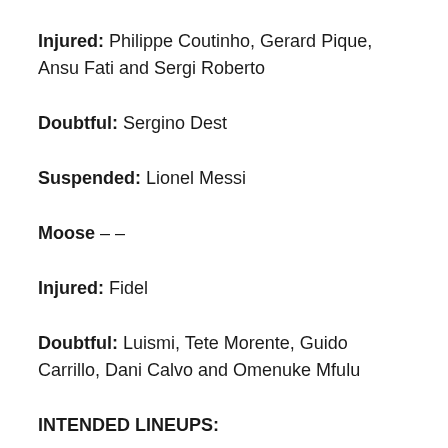Injured: Philippe Coutinho, Gerard Pique, Ansu Fati and Sergi Roberto
Doubtful: Sergino Dest
Suspended: Lionel Messi
Moose – –
Injured: Fidel
Doubtful: Luismi, Tete Morente, Guido Carrillo, Dani Calvo and Omenuke Mfulu
INTENDED LINEUPS:
Moose